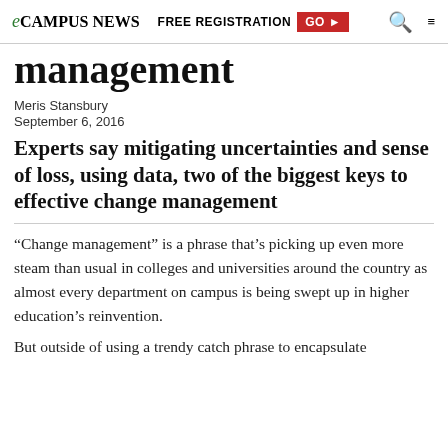eCampus News | FREE REGISTRATION GO ▶
management
Meris Stansbury
September 6, 2016
Experts say mitigating uncertainties and sense of loss, using data, two of the biggest keys to effective change management
“Change management” is a phrase that’s picking up even more steam than usual in colleges and universities around the country as almost every department on campus is being swept up in higher education’s reinvention.
But outside of using a trendy catch phrase to encapsulate